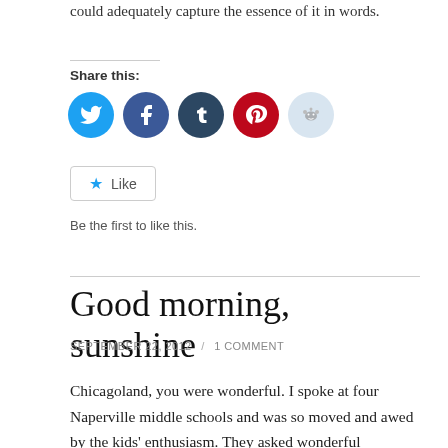could adequately capture the essence of it in words.
Share this:
[Figure (infographic): Social sharing icons: Twitter (blue circle), Facebook (dark blue circle), Tumblr (dark navy circle), Pinterest (red circle), Reddit (light blue circle)]
[Figure (infographic): Like button widget with blue star icon and text 'Like']
Be the first to like this.
Good morning, sunshine
SEPTEMBER 22, 2012 / 1 COMMENT
Chicagoland, you were wonderful. I spoke at four Naperville middle schools and was so moved and awed by the kids' enthusiasm. They asked wonderful